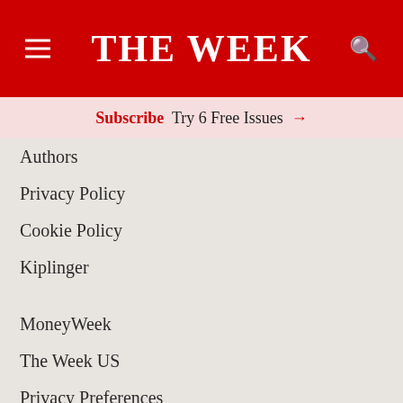THE WEEK
Subscribe  Try 6 Free Issues →
Authors
Privacy Policy
Cookie Policy
Kiplinger
MoneyWeek
The Week US
Privacy Preferences
Do Not Sell My Information
Discover The WeekDay
A twice-daily digest of the biggest news stories of the day – and the best features from our website.